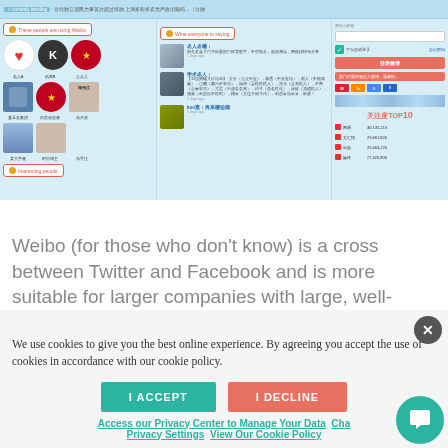[Figure (screenshot): Screenshot of the Weibo social media platform interface showing user profiles, posts, and trending topics list (关注度TOP10). The interface has sections labeled 'These people are using Weibo', 'What everyone is saying', and 'Interesting people', along with a login panel on the right side.]
Weibo (for those who don't know) is a cross between Twitter and Facebook and is more suitable for larger companies with large, well-known brands.
We use cookies to give you the best online experience. By agreeing you accept the use of cookies in accordance with our cookie policy.
I ACCEPT
I DECLINE
Access our Privacy Center to Manage Your Data  Change Privacy Settings  View Our Cookie Policy